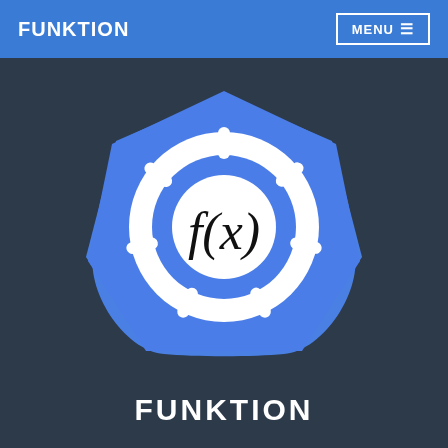FUNKTION
[Figure (logo): Funktion logo: a blue heptagon containing a white ship's wheel / Kubernetes-style helm icon, with f(x) written in black italic serif font inside the central circle of the helm.]
FUNKTION